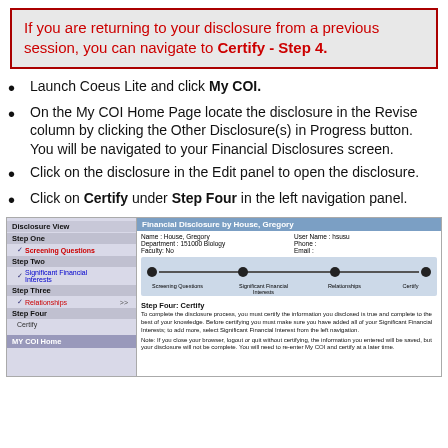If you are returning to your disclosure from a previous session, you can navigate to Certify - Step 4.
Launch Coeus Lite and click My COI.
On the My COI Home Page locate the disclosure in the Revise column by clicking the Other Disclosure(s) in Progress button. You will be navigated to your Financial Disclosures screen.
Click on the disclosure in the Edit panel to open the disclosure.
Click on Certify under Step Four in the left navigation panel.
[Figure (screenshot): Screenshot of Coeus Lite Financial Disclosure interface showing left navigation with Disclosure View steps (Step One: Screening Questions, Step Two: Significant Financial Interests, Step Three: Relationships, Step Four: Certify, MY COI Home) and right panel showing Financial Disclosure by House, Gregory with progress bar (Screening Questions, Significant Financial Interests, Relationships, Certify nodes) and Step Four: Certify instructions.]